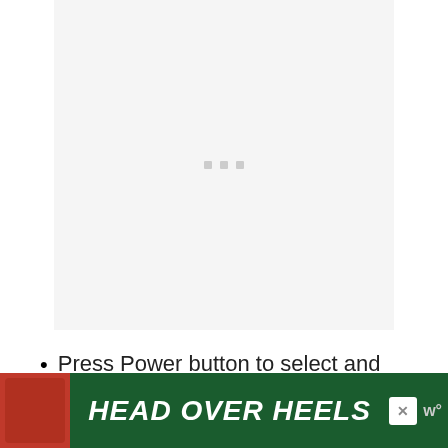[Figure (other): Loading placeholder image area with three small gray squares in the center indicating a loading state]
Press Power button to select and start the master reset.
[Figure (other): Advertisement banner with dog image and text HEAD OVER HEELS on dark green background]